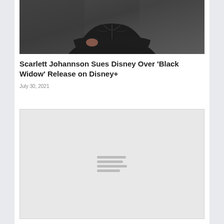[Figure (photo): A person wearing a black leather jacket with arms crossed, photographed against a dark background. Only the torso and crossed arms are visible in this cropped view.]
Scarlett Johannson Sues Disney Over ‘Black Widow’ Release on Disney+
July 30, 2021
[Figure (other): An embedded media player or content block with a light gray background and a loading/menu icon consisting of four horizontal lines of varying widths centered in the box.]